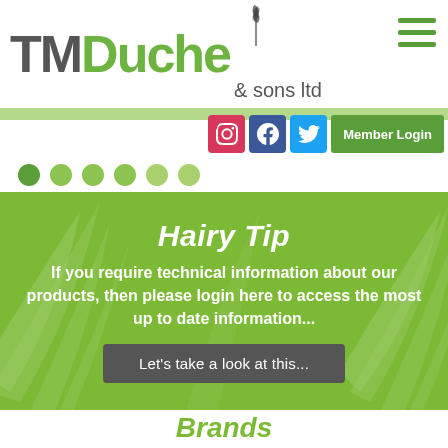[Figure (logo): TMDuche & sons ltd logo with green leaf feather icon and hamburger menu icon]
[Figure (infographic): Social media icons (Instagram, Facebook, Twitter) and Member Login button bar]
[Figure (infographic): Six dot navigation indicators, first dot active (dark green), others lighter green]
[Figure (infographic): Green banner with leaf background pattern containing 'Hairy Tip' heading, descriptive text, and 'Let's take a look at this...' button]
Brands